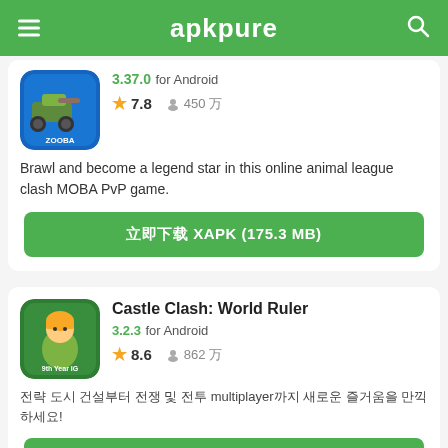apkpure
[Figure (screenshot): Zooba app icon - blue background with game title]
3.37.0 for Android
★ 7.8   👤 450 万
Brawl and become a legend star in this online animal league clash MOBA PvP game.
立即下载 XAPK (175.3 MB)
Castle Clash: World Ruler
3.2.3 for Android
★ 8.6   👤 862 万
전략 도시 건설부터 전쟁 및 전투 multiplayer까지 새로운 즐거움을 만끽하세요!
立即下载 XAPK (292.3 MB)
Castle Crush：Epic Battle
6.0.2 for Android